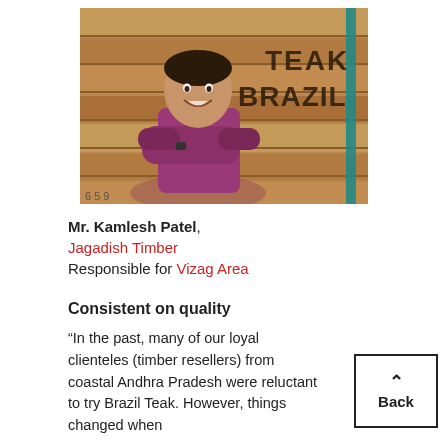[Figure (photo): Photo of Mr. Kamlesh Patel standing in front of stacked teak wood planks stamped with 'TEAK BRAZIL', arms crossed, wearing a pink polo shirt]
Mr. Kamlesh Patel,
Jagadish Timber
Responsible for Vizag Area
Consistent on quality
“In the past, many of our loyal clienteles (timber resellers) from coastal Andhra Pradesh were reluctant to try Brazil Teak. However, things changed when